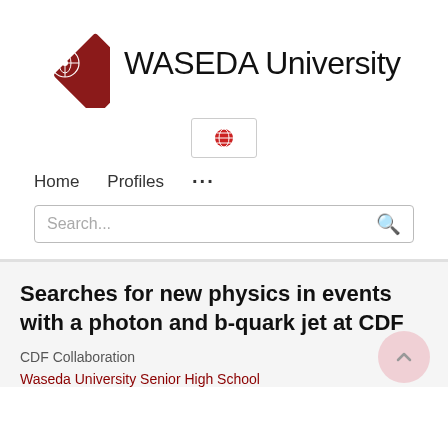[Figure (logo): Waseda University logo with red diamond shape and crest, and text 'WASEDA University']
[Figure (other): Small globe/language selection icon button]
Home   Profiles   ...
Search...
Searches for new physics in events with a photon and b-quark jet at CDF
CDF Collaboration
Waseda University Senior High School